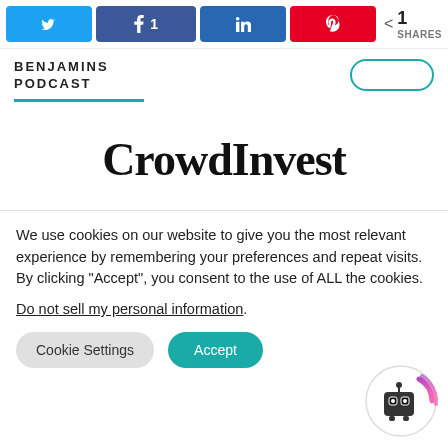[Figure (screenshot): Social media share buttons: Twitter, Facebook (1 share), LinkedIn, Pinterest, plus a share icon showing 1 SHARES total]
BENJAMINS PODCAST
[Figure (logo): CrowdInvest logo in large serif bold black text]
We use cookies on our website to give you the most relevant experience by remembering your preferences and repeat visits. By clicking "Accept", you consent to the use of ALL the cookies.
Do not sell my personal information.
[Figure (illustration): Robot mascot icon with wifi signal arcs in purple/pink, circular border]